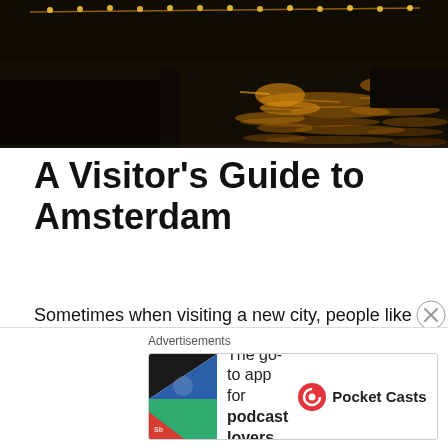[Figure (photo): Night scene of Amsterdam canal with golden light reflections on dark water]
A Visitor's Guide to Amsterdam
Sometimes when visiting a new city, people like getting advice from a local. Not from TripAdvisor or Lonely Planet or even the New York Times, like everyone else. A local. That's a badge I now wear with honor in Amsterdam. I've been asked many times to provide tips for visitors and I'm really happy to do so. Having lived in Amsterdam for fourteen months and hosting dozens of guests, we have
[Figure (infographic): Advertisement banner: Pocket Casts app ad - 'The go-to app for podcast lovers.']